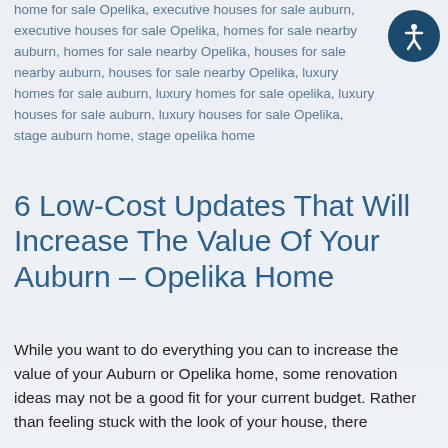home for sale Opelika, executive houses for sale auburn, executive houses for sale Opelika, homes for sale nearby auburn, homes for sale nearby Opelika, houses for sale nearby auburn, houses for sale nearby Opelika, luxury homes for sale auburn, luxury homes for sale opelika, luxury houses for sale auburn, luxury houses for sale Opelika, stage auburn home, stage opelika home
6 Low-Cost Updates That Will Increase The Value Of Your Auburn – Opelika Home
While you want to do everything you can to increase the value of your Auburn or Opelika home, some renovation ideas may not be a good fit for your current budget. Rather than feeling stuck with the look of your house, there